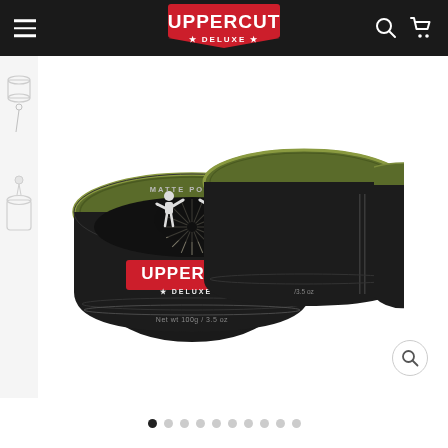Uppercut Deluxe — navigation bar with hamburger menu, logo, search and cart icons
[Figure (photo): Uppercut Deluxe Matte Pomade product tins (two cans shown side by side, olive green lids, black labels with boxer illustration, red 'Uppercut Deluxe' banner, Net wt 100g / 3.5oz), displayed on white background with thumbnail sidebar on left showing other product variants, and a zoom magnifier icon at bottom right]
[Figure (other): Carousel navigation dots: 10 dots total, first dot filled/active (black), remaining 9 grey]